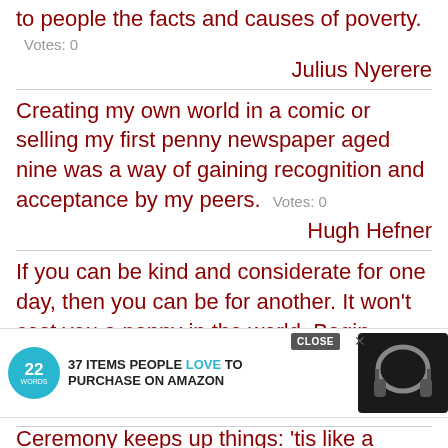to people the facts and causes of poverty.
Votes: 0
Julius Nyerere
Creating my own world in a comic or selling my first penny newspaper aged nine was a way of gaining recognition and acceptance by my peers. Votes: 0
Hugh Hefner
If you can be kind and considerate for one day, then you can be for another. It won't cost you a penny in the world. Begin today. Vot...
[Figure (other): Advertisement banner: 22 Words logo with teal circle, text '37 ITEMS PEOPLE LOVE TO PURCHASE ON AMAZON', headphones image, close button]
negie
Ceremony keeps up things: 'tis like a penny glass to a rich spirit, or some excellent water;